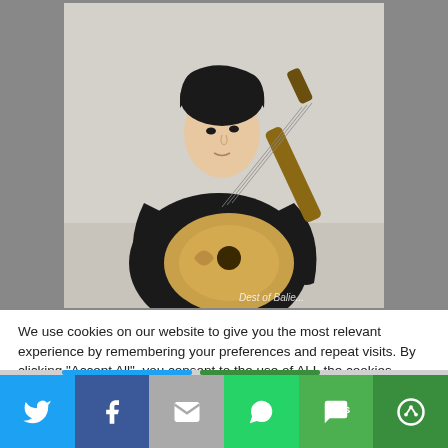[Figure (photo): Young Asian man in black hoodie playing an acoustic guitar, looking to the side. Watermark text partially visible at bottom right.]
We use cookies on our website to give you the most relevant experience by remembering your preferences and repeat visits. By clicking "Accept All", you consent to the use of ALL the cookies. However, you may visit "Cookie Settings" to provide a controlled consent.
[Figure (infographic): Social media share bar with six buttons: Twitter (blue), Facebook (dark blue), Email (gray), WhatsApp (green), SMS (green), and More/ShareThis (dark green).]